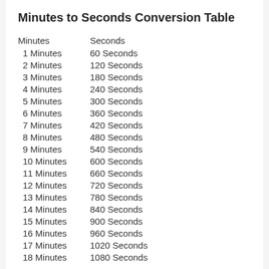Minutes to Seconds Conversion Table
| Minutes | Seconds |
| --- | --- |
| 1 Minutes | 60 Seconds |
| 2 Minutes | 120 Seconds |
| 3 Minutes | 180 Seconds |
| 4 Minutes | 240 Seconds |
| 5 Minutes | 300 Seconds |
| 6 Minutes | 360 Seconds |
| 7 Minutes | 420 Seconds |
| 8 Minutes | 480 Seconds |
| 9 Minutes | 540 Seconds |
| 10 Minutes | 600 Seconds |
| 11 Minutes | 660 Seconds |
| 12 Minutes | 720 Seconds |
| 13 Minutes | 780 Seconds |
| 14 Minutes | 840 Seconds |
| 15 Minutes | 900 Seconds |
| 16 Minutes | 960 Seconds |
| 17 Minutes | 1020 Seconds |
| 18 Minutes | 1080 Seconds |